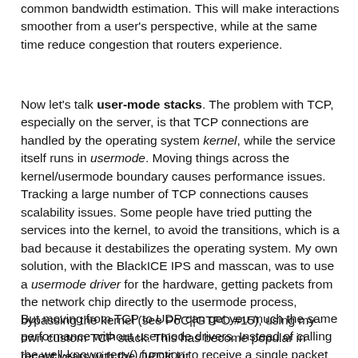common bandwidth estimation. This will make interactions smoother from a user's perspective, while at the same time reduce congestion that routers experience.
Now let's talk user-mode stacks. The problem with TCP, especially on the server, is that TCP connections are handled by the operating system kernel, while the service itself runs in usermode. Moving things across the kernel/usermode boundary causes performance issues. Tracking a large number of TCP connections causes scalability issues. Some people have tried putting the services into the kernel, to avoid the transitions, which is a bad because it destabilizes the operating system. My own solution, with the BlackICE IPS and masscan, was to use a usermode driver for the hardware, getting packets from the network chip directly to the usermode process, bypassing the kernel (see PoC||GTFO #15), using my own custom TCP stack. This has become popular in recent years with the DPDK kit.
But moving from TCP to UDP can get you much the same performance without usermode drivers. Instead of calling the well-known recv() function to receive a single packet at a